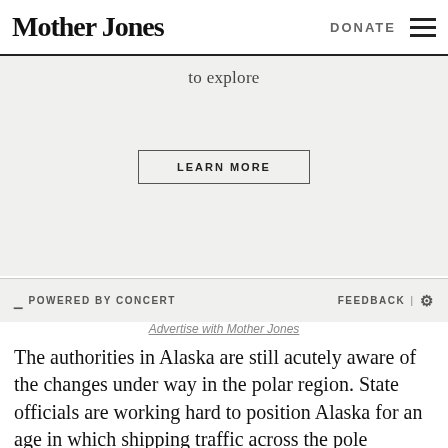Mother Jones | DONATE
[Figure (other): Advertisement block with text 'to explore' and a LEARN MORE button, powered by Concert. Includes FEEDBACK option and 'Advertise with Mother Jones' link.]
The authorities in Alaska are still acutely aware of the changes under way in the polar region. State officials are working hard to position Alaska for an age in which shipping traffic across the pole doubles every year and international concerns compete to mine the vast oil, coal, zinc and copper deposits beneath Arctic waters.